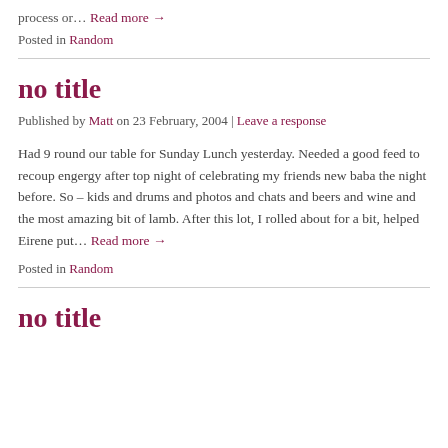process or… Read more →
Posted in Random
no title
Published by Matt on 23 February, 2004 | Leave a response
Had 9 round our table for Sunday Lunch yesterday. Needed a good feed to recoup engergy after top night of celebrating my friends new baba the night before. So – kids and drums and photos and chats and beers and wine and the most amazing bit of lamb. After this lot, I rolled about for a bit, helped Eirene put… Read more →
Posted in Random
no title